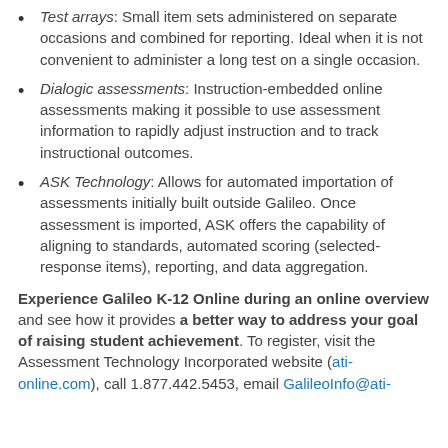Test arrays: Small item sets administered on separate occasions and combined for reporting. Ideal when it is not convenient to administer a long test on a single occasion.
Dialogic assessments: Instruction-embedded online assessments making it possible to use assessment information to rapidly adjust instruction and to track instructional outcomes.
ASK Technology: Allows for automated importation of assessments initially built outside Galileo. Once assessment is imported, ASK offers the capability of aligning to standards, automated scoring (selected-response items), reporting, and data aggregation.
Experience Galileo K-12 Online during an online overview and see how it provides a better way to address your goal of raising student achievement. To register, visit the Assessment Technology Incorporated website (ati-online.com), call 1.877.442.5453, email GalileoInfo@ati-online.com, or contact your district administrator.